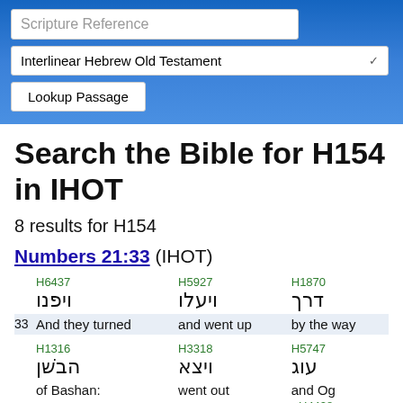Scripture Reference | Interlinear Hebrew Old Testament | Lookup Passage
Search the Bible for H154 in IHOT
8 results for H154
Numbers 21:33 (IHOT)
| H6437 | H5927 | H1870 |
| --- | --- | --- |
| ויפנו | ויעלו | דרך |
| 33  And they turned | and went up | by the way |
| H1316 | H3318 | H5747 | H4428 |
| הבשׁן | ויצא | עוג | מלך |
| of Bashan: | went out | and Og | the king |